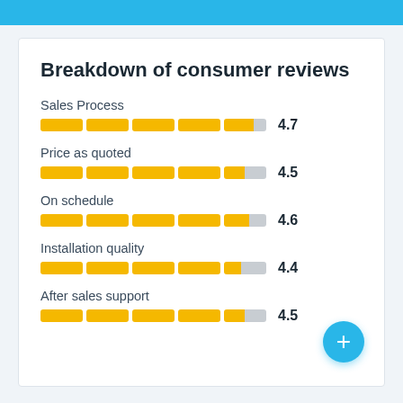Breakdown of consumer reviews
[Figure (bar-chart): Breakdown of consumer reviews]